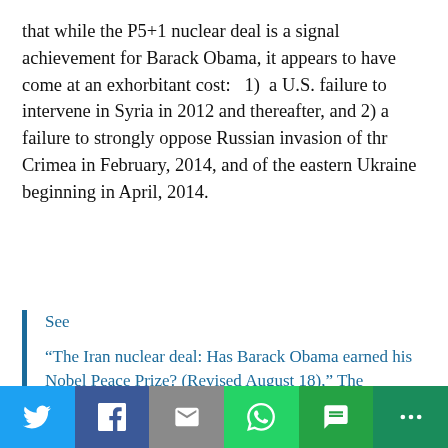that while the P5+1 nuclear deal is a signal achievement for Barack Obama, it appears to have come at an exhorbitant cost: 1) a U.S. failure to intervene in Syria in 2012 and thereafter, and 2) a failure to strongly oppose Russian invasion of thr Crimea in February, 2014, and of the eastern Ukraine beginning in April, 2014.
See

"The Iran nuclear deal: Has Barack Obama earned his Nobel Peace Prize? (Revised August 18)," The Trenchant Observer, July 16, 2015.
[Figure (infographic): Social sharing bar with icons for Twitter, Facebook, Email, WhatsApp, SMS, and More]